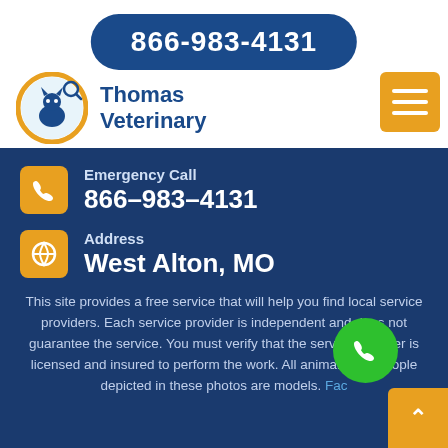866-983-4131
[Figure (logo): Thomas Veterinary logo with orange circle containing a sitting cat/dog silhouette and a magnifying glass icon, with blue text 'Thomas Veterinary' to the right]
Emergency Call
866-983-4131
Address
West Alton, MO
This site provides a free service that will help you find local service providers. Each service provider is independent and does not guarantee the service. You must verify that the service provider is licensed and insured to perform the work. All animals and people depicted in these photos are models. Fac